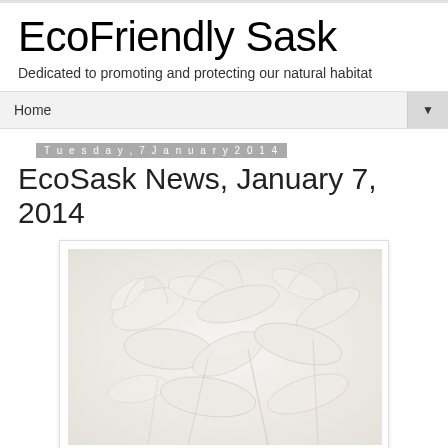EcoFriendly Sask
Dedicated to promoting and protecting our natural habitat
Home ▼
Tuesday, 7 January 2014
EcoSask News, January 7, 2014
[Figure (photo): Close-up photograph of frost crystals or ice formations on plant material, predominantly white and pale tones with delicate branching shapes]